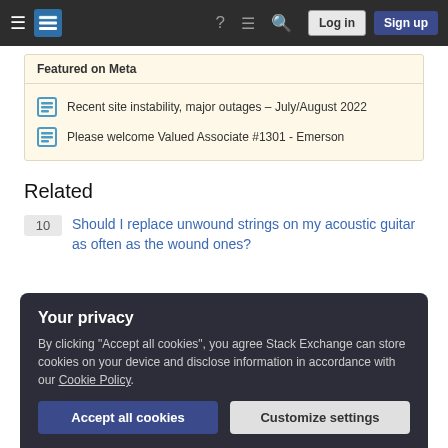Stack Exchange navigation bar with Log in and Sign up buttons
Featured on Meta
Recent site instability, major outages – July/August 2022
Please welcome Valued Associate #1301 - Emerson
Related
10  Should I replace unwound strings on my acoustic guitar as often as the wound ones?
7  Valiha maintenance
Your privacy
By clicking "Accept all cookies", you agree Stack Exchange can store cookies on your device and disclose information in accordance with our Cookie Policy.
Accept all cookies  Customize settings